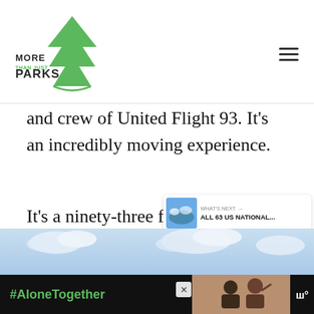MORE THAN JUST PARKS
and crew of United Flight 93. It’s an incredibly moving experience.
It’s a ninety-three feet tall musical instrument holding forty wind chimes, representing the forty passengers and crew members.
[Figure (photo): Sky with clouds, partial view of landscape]
[Figure (infographic): Advertisement bar: #AloneTogether with photo of people and logo]